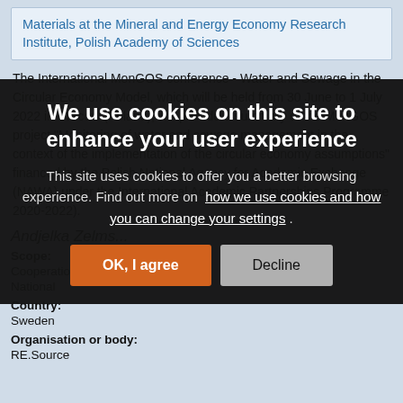Materials at the Mineral and Energy Economy Research Institute, Polish Academy of Sciences
The International MonGOS conference - Water and Sewage in the Circular Economy Model, which will be held from 30 June to 1 July 2022 in Cracow (Poland), will provide a summary of the MonGOS project "Monitoring of water and sewage management in the context of the implementation of the circular economy assumptions" financed by the Polish National Agency for Academic Exchange (NAWA) under the International Academic Partnerships Programme 2020-2022.
Andjelka Zelms...
Scope: Cooperation and development... National
Country: Sweden
Organisation or body: RE.Source
We use cookies on this site to enhance your user experience

This site uses cookies to offer you a better browsing experience. Find out more on how we use cookies and how you can change your settings .